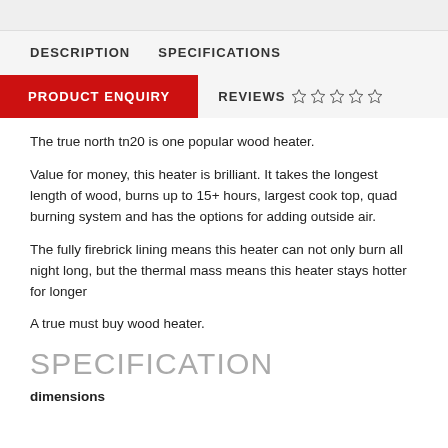DESCRIPTION   SPECIFICATIONS
PRODUCT ENQUIRY   REVIEWS ☆ ☆ ☆ ☆ ☆
The true north tn20 is one popular wood heater.
Value for money, this heater is brilliant. It takes the longest length of wood, burns up to 15+ hours, largest cook top, quad burning system and has the options for adding outside air.
The fully firebrick lining means this heater can not only burn all night long, but the thermal mass means this heater stays hotter for longer
A true must buy wood heater.
SPECIFICATION
dimensions